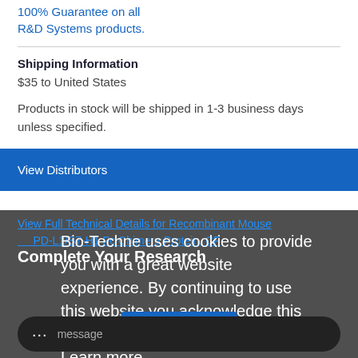100% Guarantee on all R&D Systems products.
Shipping Information
$35 to United States
Products in stock will be shipped in 1-3 business days unless specified.
View Distributors
View Full Technical Details for Recombinant Mouse PD-L1/B7-H1 Fc Chimera Protein, CF
Complete Your Research
Bio-Techne uses cookies to provide you with a great website experience. By continuing to use this website you acknowledge this and agree to our cookie policy. Learn more.
I Agree
message